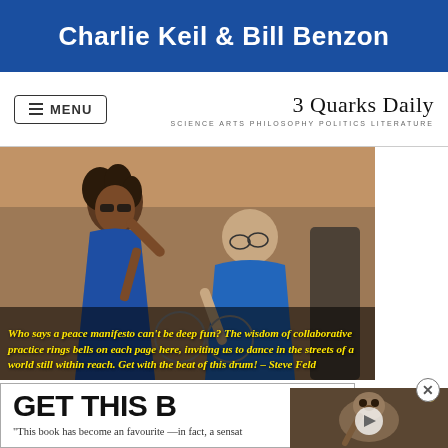[Figure (photo): Blue banner with white bold text reading 'Charlie Keil & Bill Benzon']
MENU | 3 Quarks Daily — SCIENCE ARTS PHILOSOPHY POLITICS LITERATURE
[Figure (photo): Two people dancing outdoors near a brick wall. A woman in a blue dress with curly hair holds hands with a man in a blue t-shirt. Yellow italic quote overlaid: 'Who says a peace manifesto can't be deep fun? The wisdom of collaborative practice rings bells on each page here, inviting us to dance in the streets of a world still within reach. Get with the beat of this drum! – Steve Feld']
GET THIS B
"This book has become an favourite —in fact, a sensat
[Figure (screenshot): Video player thumbnail showing an animal (possibly an otter or similar creature) with a play button overlay]